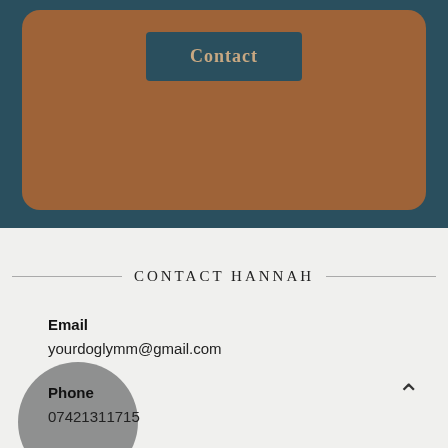[Figure (screenshot): Top navigation area with teal background and a brown rounded card containing a 'Contact' button in teal]
CONTACT HANNAH
Email
yourdoglymm@gmail.com
Phone
07421311715